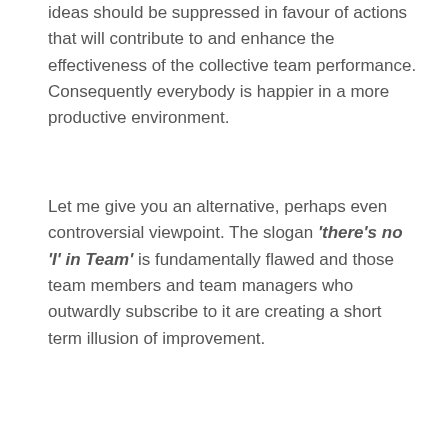ideas should be suppressed in favour of actions that will contribute to and enhance the effectiveness of the collective team performance. Consequently everybody is happier in a more productive environment.
Let me give you an alternative, perhaps even controversial viewpoint. The slogan 'there's no 'I' in Team' is fundamentally flawed and those team members and team managers who outwardly subscribe to it are creating a short term illusion of improvement.